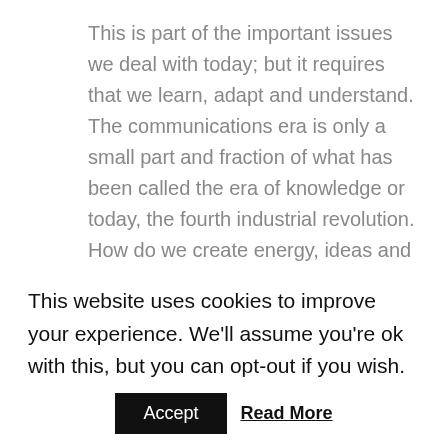This is part of the important issues we deal with today; but it requires that we learn, adapt and understand. The communications era is only a small part and fraction of what has been called the era of knowledge or today, the fourth industrial revolution. How do we create energy, ideas and develop the potential of our societies? How do we improve our education systems in order to grow in different and better ways?
This is the subject of this interesting show; join me as
This website uses cookies to improve your experience. We'll assume you're ok with this, but you can opt-out if you wish.
Accept
Read More